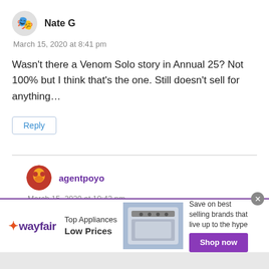Nate G
March 15, 2020 at 8:41 pm
Wasn't there a Venom Solo story in Annual 25? Not 100% but I think that's the one. Still doesn't sell for anything…
Reply
agentpoyo
March 15, 2020 at 10:42 pm
[Figure (infographic): Wayfair advertisement banner with appliance image, 'Top Appliances Low Prices' text, and 'Shop now' purple button]